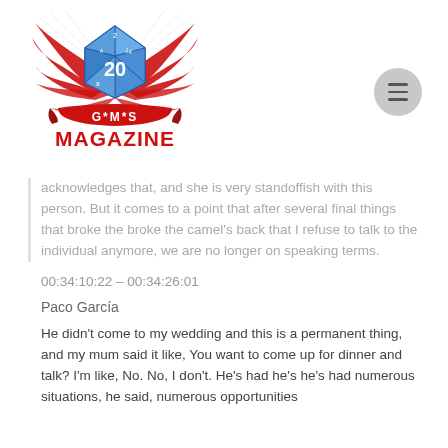[Figure (logo): GMS Magazine logo: red wings surrounding a blue 20-sided die, with a red ribbon banner reading G*M*S and bold red text MAGAZINE below]
acknowledges that, and she is very standoffish with this person. But it comes to a point that after several final things that broke the broke the camel's back that I refuse to talk to the individual anymore, we are no longer on speaking terms.
00:34:10:22 – 00:34:26:01
Paco García
He didn't come to my wedding and this is a permanent thing, and my mum said it like, You want to come up for dinner and talk? I'm like, No. No, I don't. He's had he's he's had numerous situations, he said, numerous opportunities